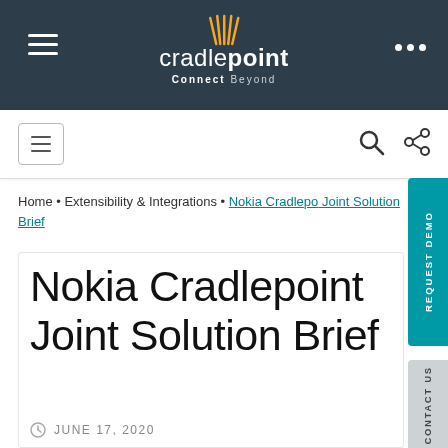[Figure (logo): Cradlepoint logo with antenna icon and tagline 'Connect Beyond' on dark background header]
cradlepoint Connect Beyond
Home · Extensibility & Integrations · Nokia Cradlepoint Joint Solution Brief
Nokia Cradlepoint Joint Solution Brief
JUNE 17, 2020